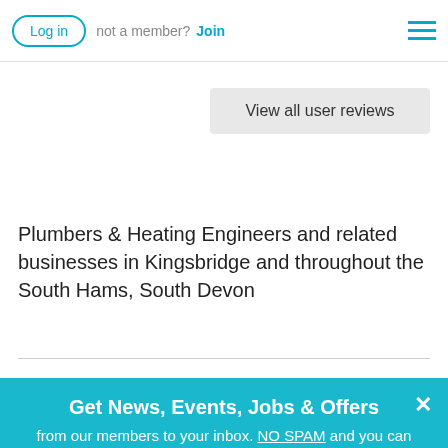Log in  not a member?  Join
View all user reviews
Plumbers & Heating Engineers and related businesses in Kingsbridge and throughout the South Hams, South Devon
Get News, Events, Jobs & Offers
from our members to your inbox. NO SPAM and you can unsubscribe at anytime
Email
SUBSCRIBE